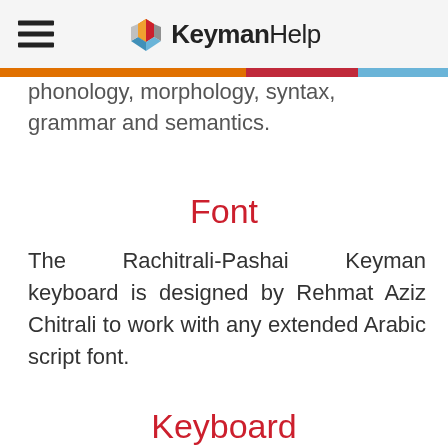KeymanHelp
phonology, morphology, syntax, grammar and semantics.
Font
The Rachitrali-Pashai Keyman keyboard is designed by Rehmat Aziz Chitrali to work with any extended Arabic script font.
Keyboard
This keyboard layout is designed by